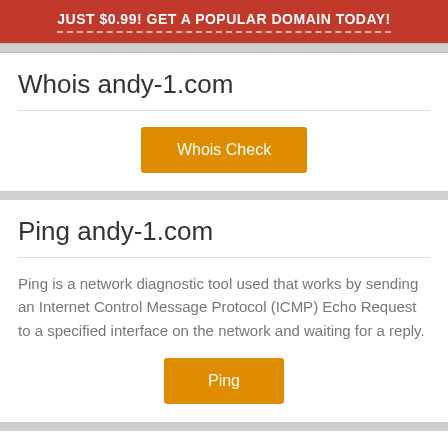JUST $0.99! GET A POPULAR DOMAIN TODAY!
Whois andy-1.com
Whois Check
Ping andy-1.com
Ping is a network diagnostic tool used that works by sending an Internet Control Message Protocol (ICMP) Echo Request to a specified interface on the network and waiting for a reply.
Ping
Whois DNS Record for andy-1...